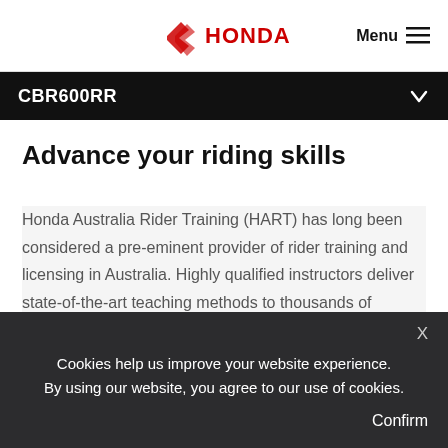HONDA — Menu
CBR600RR
Advance your riding skills
Honda Australia Rider Training (HART) has long been considered a pre-eminent provider of rider training and licensing in Australia. Highly qualified instructors deliver state-of-the-art teaching methods to thousands of Australian riders each year. Providing comprehensive rider training to all levels of motorcyclists from beginner through to advanced.
Cookies help us improve your website experience. By using our website, you agree to our use of cookies.
Confirm